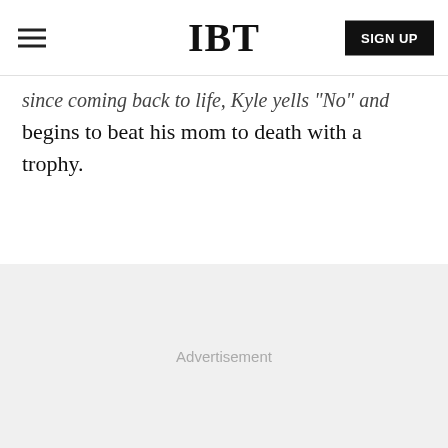IBT
since coming back to life, Kyle yells "No" and begins to beat his mom to death with a trophy.
[Figure (other): Advertisement placeholder area with light gray background]